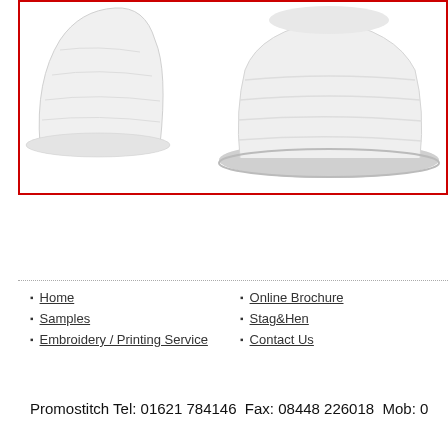[Figure (photo): Two white baseball/bucket style hats photographed against a white background, shown inside a red border box. Left hat shows a front/angled view, right hat shows a side/top view.]
Home
Samples
Embroidery / Printing Service
Online Brochure
Stag&Hen
Contact Us
Promostitch Tel: 01621 784146  Fax: 08448 226018  Mob: 0...